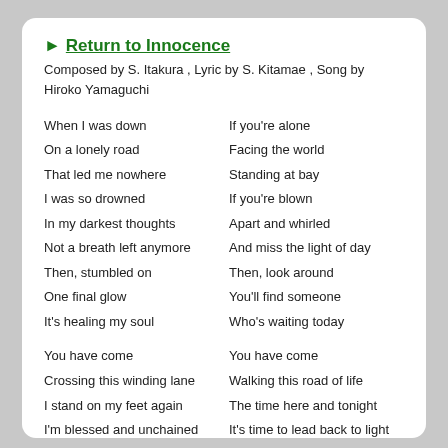▶ Return to Innocence
Composed by S. Itakura , Lyric by S. Kitamae , Song by Hiroko Yamaguchi
When I was down
If you're alone
On a lonely road
Facing the world
That led me nowhere
Standing at bay
I was so drowned
If you're blown
In my darkest thoughts
Apart and whirled
Not a breath left anymore
And miss the light of day
Then, stumbled on
Then, look around
One final glow
You'll find someone
It's healing my soul
Who's waiting today
You have come
You have come
Crossing this winding lane
Walking this road of life
I stand on my feet again
The time here and tonight
I'm blessed and unchained
It's time to lead back to light
By your love
With our love